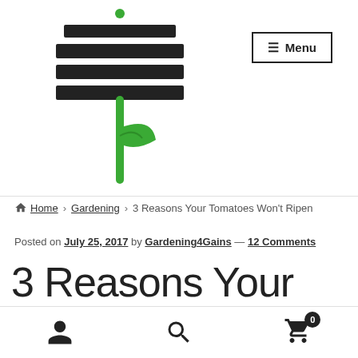[Figure (logo): Gardening4Gains logo: stacked horizontal bars (like a signpost) in dark color with a green plant stem and leaf below]
[Figure (other): Menu button with hamburger icon and text 'Menu' inside a rectangular border]
Home > Gardening > 3 Reasons Your Tomatoes Won't Ripen
Posted on July 25, 2017 by Gardening4Gains — 12 Comments
3 Reasons Your
[Figure (other): Bottom toolbar with user icon, search icon, and shopping cart icon with badge showing 0]